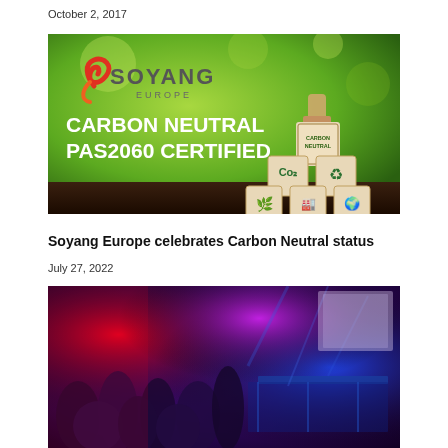October 2, 2017
[Figure (photo): Soyang Europe Carbon Neutral PAS2060 Certified banner image with logo and wooden blocks showing environmental icons (CO2, recycling, leaf, factory, globe)]
Soyang Europe celebrates Carbon Neutral status
July 27, 2022
[Figure (photo): Celebration event photo showing a crowd of people at a party with colorful red, blue and purple lighting, tables visible in the background]